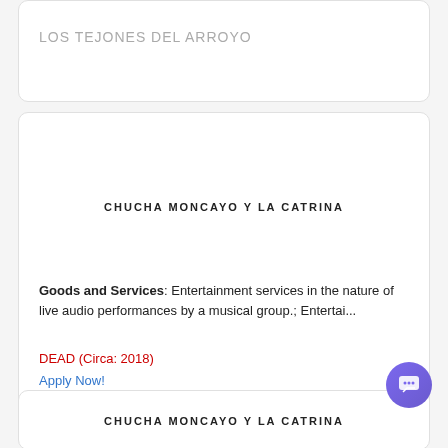LOS TEJONES DEL ARROYO
CHUCHA MONCAYO Y LA CATRINA
Goods and Services: Entertainment services in the nature of live audio performances by a musical group.; Entertai...
DEAD (Circa: 2018)
Apply Now!
CHUCHA MONCAYO Y LA CATRINA
CHUCHA MONCAYO Y LA CATRINA